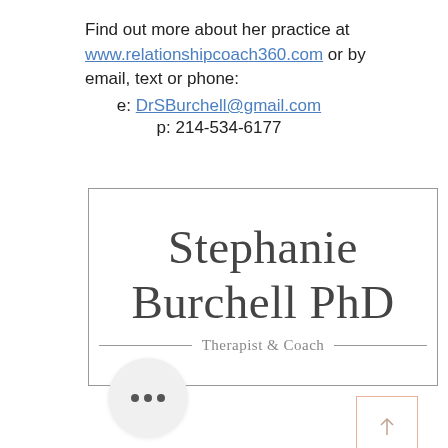Find out more about her practice at www.relationshipcoach360.com or by email, text or phone:
e: DrSBurchell@gmail.com
p: 214-534-6177
[Figure (logo): Stephanie Burchell PhD - Therapist & Coach logo in a rectangular border with decorative lines flanking the tagline]